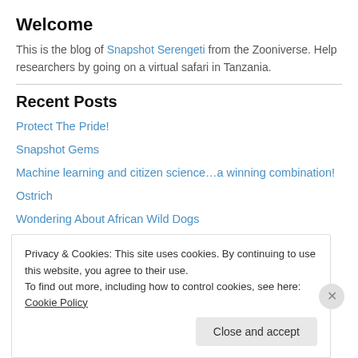Welcome
This is the blog of Snapshot Serengeti from the Zooniverse. Help researchers by going on a virtual safari in Tanzania.
Recent Posts
Protect The Pride!
Snapshot Gems
Machine learning and citizen science…a winning combination!
Ostrich
Wondering About African Wild Dogs
Privacy & Cookies: This site uses cookies. By continuing to use this website, you agree to their use. To find out more, including how to control cookies, see here: Cookie Policy